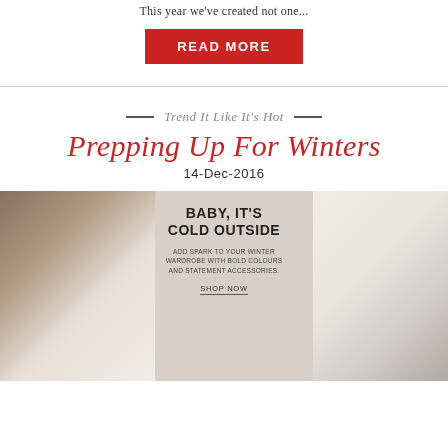This year we've created not one...
READ MORE
Trend It Like It's Hot
Prepping Up For Winters
14-Dec-2016
[Figure (photo): Fashion blog promotional image showing two female models wearing winter outfits with bold accessories, and center text reading BABY, IT'S COLD OUTSIDE with subtext about adding spark to winter wardrobe with bold colours and statement accessories, and a SHOP NOW link.]